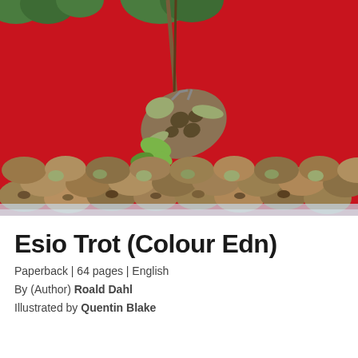[Figure (illustration): Book cover illustration showing a turtle being lifted by a rope attached to a tree branch above a large pile of turtles, all on a bright red background with Quentin Blake's distinctive sketch style]
Esio Trot (Colour Edn)
Paperback | 64 pages | English
By (Author) Roald Dahl
Illustrated by Quentin Blake